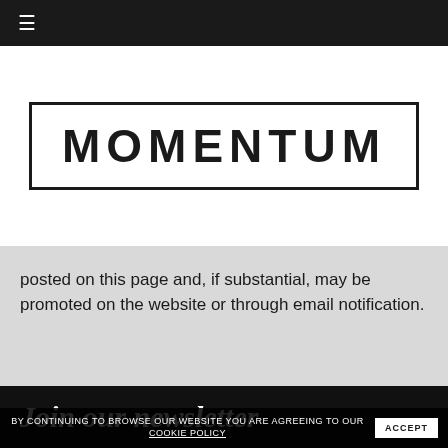≡
[Figure (logo): MOMENTUM logo in bold uppercase letters inside a rectangular border]
posted on this page and, if substantial, may be promoted on the website or through email notification.
Join our newsletter
BY CONTINUING TO BROWSE OUR WEBSITE YOU ARE AGREEING TO OUR COOKIE POLICY   ACCEPT